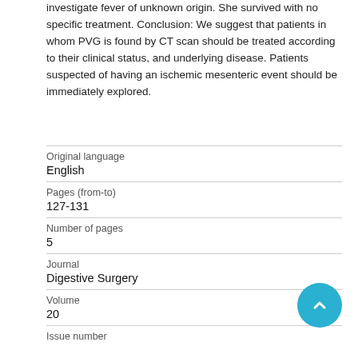investigate fever of unknown origin. She survived with no specific treatment. Conclusion: We suggest that patients in whom PVG is found by CT scan should be treated according to their clinical status, and underlying disease. Patients suspected of having an ischemic mesenteric event should be immediately explored.
| Original language | English |
| Pages (from-to) | 127-131 |
| Number of pages | 5 |
| Journal | Digestive Surgery |
| Volume | 20 |
| Issue number |  |